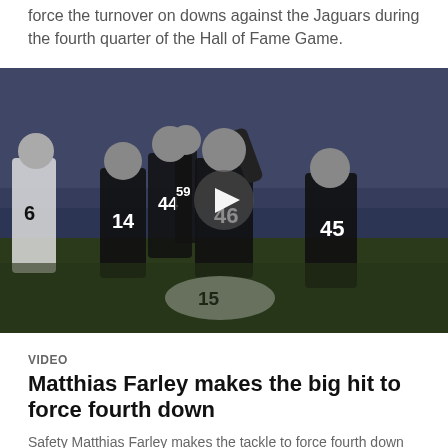force the turnover on downs against the Jaguars during the fourth quarter of the Hall of Fame Game.
[Figure (photo): NFL football game photo showing Raiders players in black uniforms celebrating on the field. Player #46 has fist raised, player #45 is nearby. A Jaguars player #15 is on the ground. Other players including #14, #44, #59 visible. A play button overlay indicates this is a video thumbnail.]
VIDEO
Matthias Farley makes the big hit to force fourth down
Safety Matthias Farley makes the tackle to force fourth down against the Jaguars in the Hall of Fame Game.